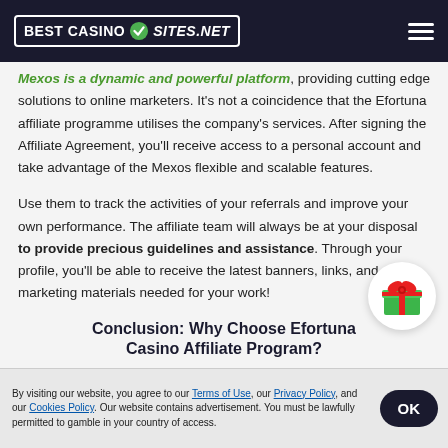BEST CASINO SITES.NET
Mexos is a dynamic and powerful platform, providing cutting edge solutions to online marketers. It's not a coincidence that the Efortuna affiliate programme utilises the company's services. After signing the Affiliate Agreement, you'll receive access to a personal account and take advantage of the Mexos flexible and scalable features.
Use them to track the activities of your referrals and improve your own performance. The affiliate team will always be at your disposal to provide precious guidelines and assistance. Through your profile, you'll be able to receive the latest banners, links, and other marketing materials needed for your work!
Conclusion: Why Choose Efortuna Casino Affiliate Program?
[Figure (illustration): Green gift box with red ribbon and bow icon in white circle]
By visiting our website, you agree to our Terms of Use, our Privacy Policy, and our Cookies Policy. Our website contains advertisement. You must be lawfully permitted to gamble in your country of access.